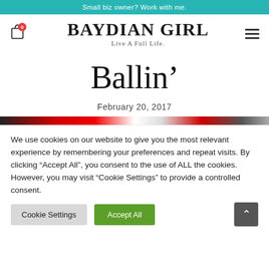Small biz owner? Work with me.
BAYDIAN GIRL
Live A Full Life.
Ballin’
February 20, 2017
[Figure (photo): Partial hero image strip showing a dark and red toned image]
We use cookies on our website to give you the most relevant experience by remembering your preferences and repeat visits. By clicking “Accept All”, you consent to the use of ALL the cookies. However, you may visit “Cookie Settings” to provide a controlled consent.